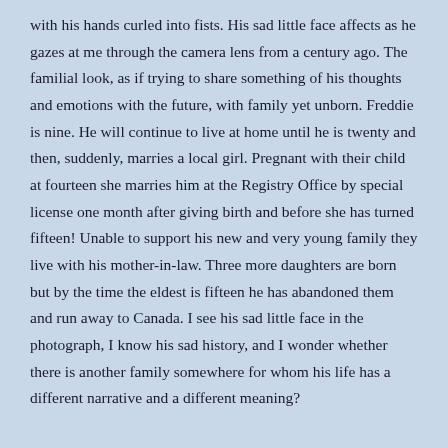with his hands curled into fists. His sad little face affects as he gazes at me through the camera lens from a century ago. The familial look, as if trying to share something of his thoughts and emotions with the future, with family yet unborn. Freddie is nine. He will continue to live at home until he is twenty and then, suddenly, marries a local girl. Pregnant with their child at fourteen she marries him at the Registry Office by special license one month after giving birth and before she has turned fifteen! Unable to support his new and very young family they live with his mother-in-law. Three more daughters are born but by the time the eldest is fifteen he has abandoned them and run away to Canada. I see his sad little face in the photograph, I know his sad history, and I wonder whether there is another family somewhere for whom his life has a different narrative and a different meaning?